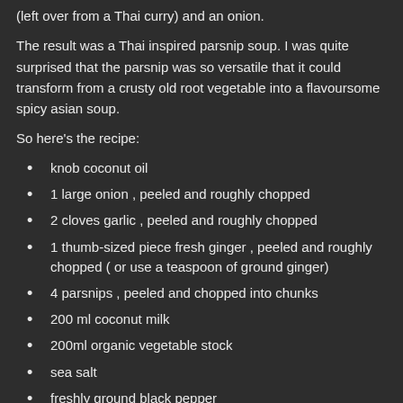(left over from a Thai curry) and an onion.
The result was a Thai inspired parsnip soup. I was quite surprised that the parsnip was so versatile that it could transform from a crusty old root vegetable into a flavoursome spicy asian soup.
So here's the recipe:
knob coconut oil
1 large onion , peeled and roughly chopped
2 cloves garlic , peeled and roughly chopped
1 thumb-sized piece fresh ginger , peeled and roughly chopped ( or use a teaspoon of ground ginger)
4 parsnips , peeled and chopped into chunks
200 ml coconut milk
200ml  organic vegetable stock
sea salt
freshly ground black pepper
1 fresh red chilli , deseeded and finely sliced